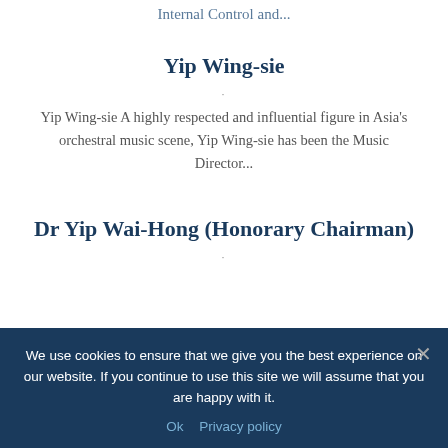Internal Control and...
Yip Wing-sie
·
Yip Wing-sie A highly respected and influential figure in Asia's orchestral music scene, Yip Wing-sie has been the Music Director...
Dr Yip Wai-Hong (Honorary Chairman)
·
We use cookies to ensure that we give you the best experience on our website. If you continue to use this site we will assume that you are happy with it.
Ok  Privacy policy